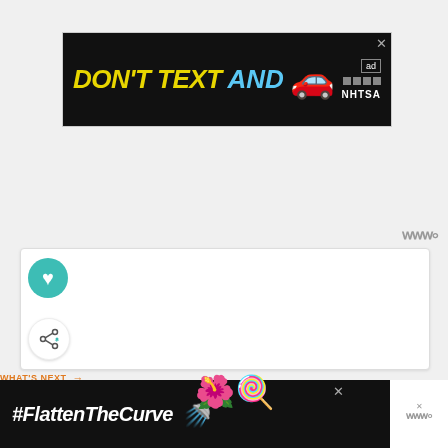[Figure (screenshot): NHTSA 'Don't Text AND Drive' advertisement banner on black background with yellow and cyan text, red car emoji, ad council logo]
[Figure (screenshot): Web page UI elements: teal heart button, share button, Weero logo watermark]
WHAT'S NEXT →
New Jersey Kids Activity...
[Figure (screenshot): Jersey cursive orange text with green car emoji, partial New Jersey Kids Activity article preview]
[Figure (screenshot): #FlattenTheCurve bottom advertisement banner with hand washing image on black background]